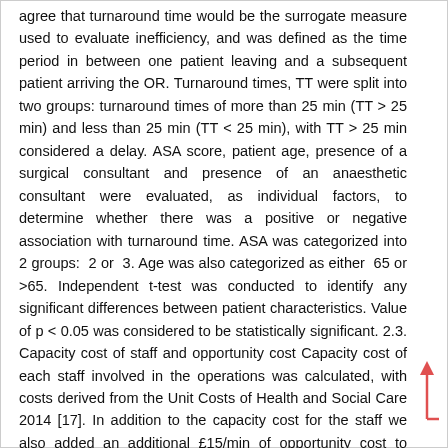agree that turnaround time would be the surrogate measure used to evaluate inefficiency, and was defined as the time period in between one patient leaving and a subsequent patient arriving the OR. Turnaround times, TT were split into two groups: turnaround times of more than 25 min (TT > 25 min) and less than 25 min (TT < 25 min), with TT > 25 min considered a delay. ASA score, patient age, presence of a surgical consultant and presence of an anaesthetic consultant were evaluated, as individual factors, to determine whether there was a positive or negative association with turnaround time. ASA was categorized into 2 groups:  2 or  3. Age was also categorized as either  65 or >65. Independent t-test was conducted to identify any significant differences between patient characteristics. Value of p < 0.05 was considered to be statistically significant. 2.3. Capacity cost of staff and opportunity cost Capacity cost of each staff involved in the operations was calculated, with costs derived from the Unit Costs of Health and Social Care 2014 [17]. In addition to the capacity cost for the staff we also added an additional £15/min of opportunity cost to calculate the total financial loss after a delay of >25 min. Opportunity costs are the loss of income that would have been generated from